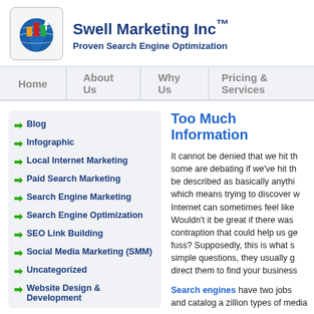Swell Marketing Inc™ — Proven Search Engine Optimization
Swell Marketing Inc™
Proven Search Engine Optimization
Home
About Us
Why Us
Pricing & Services
Blog
Infographic
Local Internet Marketing
Paid Search Marketing
Search Engine Marketing
Search Engine Optimization
SEO Link Building
Social Media Marketing (SMM)
Uncategorized
Website Design & Development
Too Much Information
It cannot be denied that we hit the information age, and some are debating if we've hit the... be described as basically anything... which means trying to discover w... Internet can sometimes feel like... Wouldn't it be great if there was... contraption that could help us ge... fuss? Supposedly, this is what s... simple questions, they usually g... direct them to find your business...
Search engines have two jobs and catalog a zillion types of media...